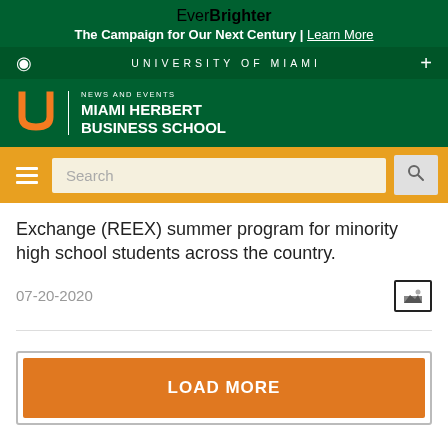EverBrighter
The Campaign for Our Next Century | Learn More
UNIVERSITY OF MIAMI
NEWS AND EVENTS MIAMI HERBERT BUSINESS SCHOOL
Exchange (REEX) summer program for minority high school students across the country.
07-20-2020
LOAD MORE